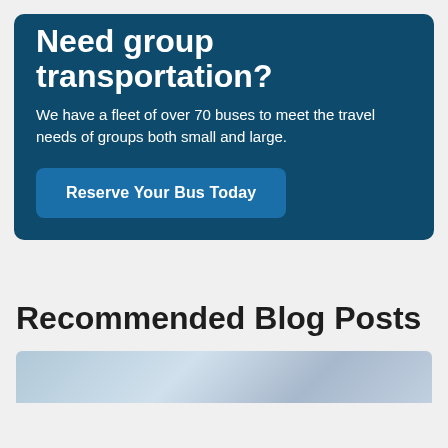Need group transportation?
We have a fleet of over 70 buses to meet the travel needs of groups both small and large.
Reserve Your Bus Today
Recommended Blog Posts
[Figure (photo): Partial view of bus interior or exterior, cropped at bottom of page]